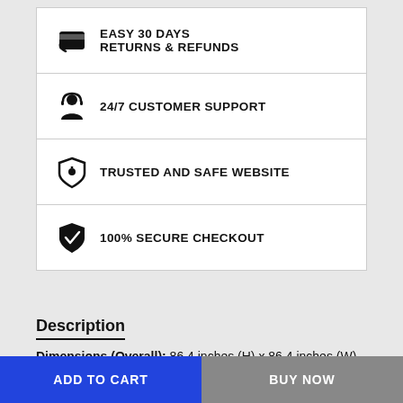EASY 30 DAYSRETURNS & REFUNDS
24/7 CUSTOMER SUPPORT
TRUSTED AND SAFE WEBSITE
100% SECURE CHECKOUT
Description
Dimensions (Overall): 86.4 inches (H) x 86.4 inches (W)
Weight: 19.84 pounds
Assembly Details: No Assembly Required
ADD TO CART
BUY NOW